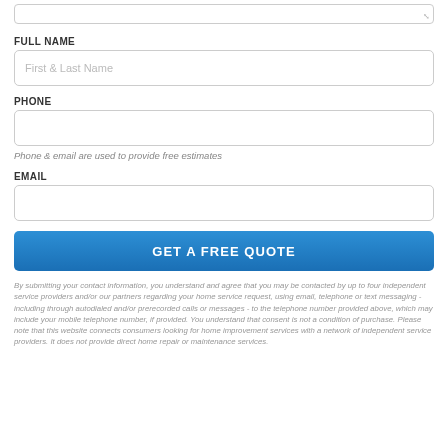[Figure (screenshot): Top portion of a text area input field (cropped), with resize handle visible at bottom-right corner]
FULL NAME
[Figure (screenshot): Text input field with placeholder text 'First & Last Name']
PHONE
[Figure (screenshot): Text input field for phone number, empty]
Phone & email are used to provide free estimates
EMAIL
[Figure (screenshot): Text input field for email, empty]
[Figure (screenshot): Blue button labeled GET A FREE QUOTE]
By submitting your contact information, you understand and agree that you may be contacted by up to four independent service providers and/or our partners regarding your home service request, using email, telephone or text messaging - including through autodialed and/or prerecorded calls or messages - to the telephone number provided above, which may include your mobile telephone number, if provided. You understand that consent is not a condition of purchase. Please note that this website connects consumers looking for home improvement services with a network of independent service providers. It does not provide direct home repair or maintenance services.